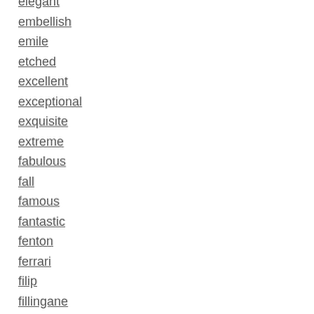elegant
embellish
emile
etched
excellent
exceptional
exquisite
extreme
fabulous
fall
famous
fantastic
fenton
ferrari
filip
fillingane
find
fine